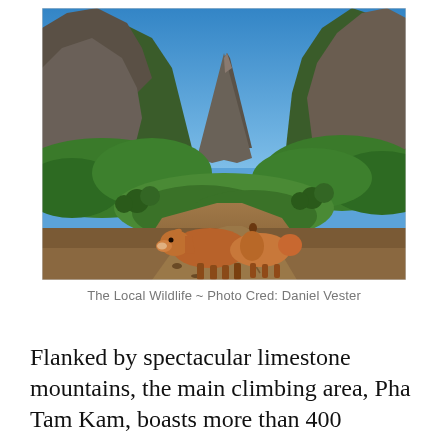[Figure (photo): Outdoor photograph of two brown cows standing on a muddy dirt path in a valley. The valley is flanked by dramatic limestone karst mountains covered in green vegetation on both sides. A tall rocky peak is visible in the background center. The sky is bright blue. The foreground is a brown muddy trail with sparse rocks.]
The Local Wildlife ~ Photo Cred: Daniel Vester
Flanked by spectacular limestone mountains, the main climbing area, Pha Tam Kam, boasts more than 400